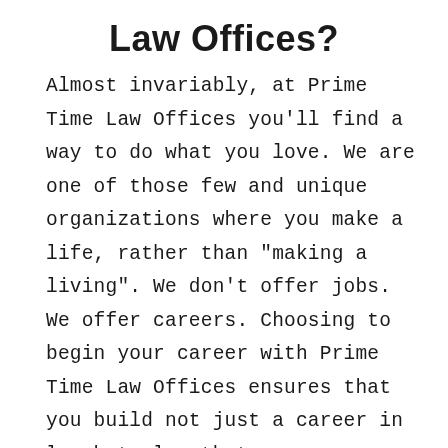Law Offices?
Almost invariably, at Prime Time Law Offices you'll find a way to do what you love. We are one of those few and unique organizations where you make a life, rather than "making a living". We don't offer jobs. We offer careers. Choosing to begin your career with Prime Time Law Offices ensures that you build not just a career in law but also that you are equipped with leadership and other invaluable